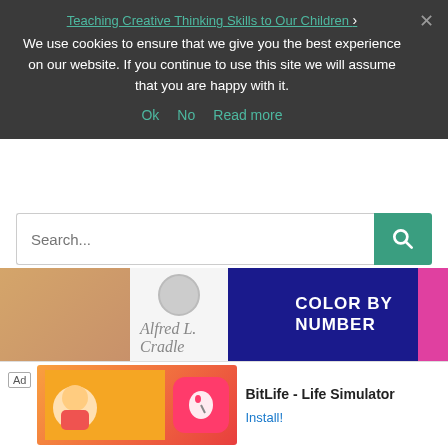Teaching Creative Thinking Skills to Our Children ›
We use cookies to ensure that we give you the best experience on our website. If you continue to use this site we will assume that you are happy with it.
Ok   No   Read more
[Figure (screenshot): Search bar with green search button]
[Figure (screenshot): Book thumbnails strip showing Alfred L. Cralle author and Color by Number book covers]
[Figure (infographic): Ad bar showing BitLife - Life Simulator app advertisement with Install button]